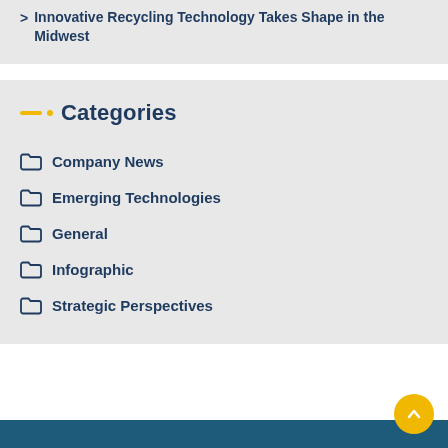Innovative Recycling Technology Takes Shape in the Midwest
Categories
Company News
Emerging Technologies
General
Infographic
Strategic Perspectives